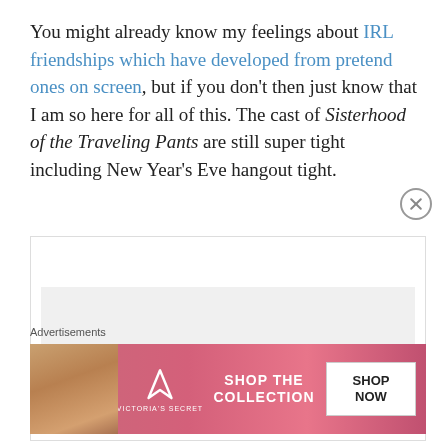You might already know my feelings about IRL friendships which have developed from pretend ones on screen, but if you don't then just know that I am so here for all of this. The cast of Sisterhood of the Traveling Pants are still super tight including New Year's Eve hangout tight.
[Figure (screenshot): Embedded content box with a gray inner area, and a close (X) button on the bottom-right corner.]
Advertisements
[Figure (photo): Victoria's Secret advertisement banner with a model, the VS logo, 'SHOP THE COLLECTION' text, and a 'SHOP NOW' button on a pink/red gradient background.]